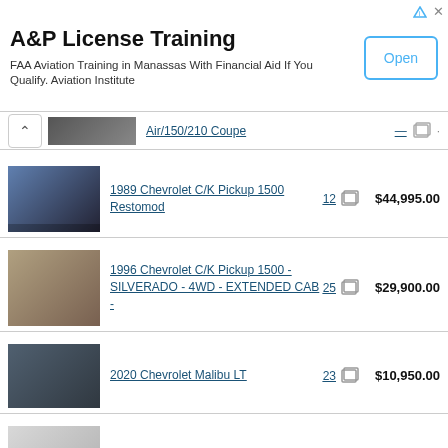[Figure (screenshot): Advertisement banner for A&P License Training]
A&P License Training
FAA Aviation Training in Manassas With Financial Aid If You Qualify. Aviation Institute
Air/150/210 Coupe (partial, top of list)
1989 Chevrolet C/K Pickup 1500 Restomod — 12 photos — $44,995.00
1996 Chevrolet C/K Pickup 1500 - SILVERADO - 4WD - EXTENDED CAB - — 25 photos — $29,900.00
2020 Chevrolet Malibu LT — 23 photos — $10,950.00
2017 Chevrolet Suburban — 24 photos — $29,000.00
Partial listing at bottom (image only visible)